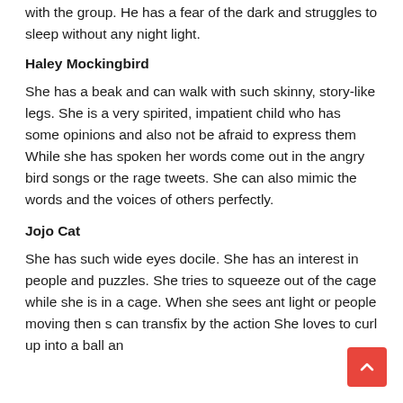with the group. He has a fear of the dark and struggles to sleep without any night light.
Haley Mockingbird
She has a beak and can walk with such skinny, story-like legs. She is a very spirited, impatient child who has some opinions and also not be afraid to express them While she has spoken her words come out in the angry bird songs or the rage tweets. She can also mimic the words and the voices of others perfectly.
Jojo Cat
She has such wide eyes docile. She has an interest in people and puzzles. She tries to squeeze out of the cage while she is in a cage. When she sees ant light or people moving then she can transfix by the action She loves to curl up into a ball and